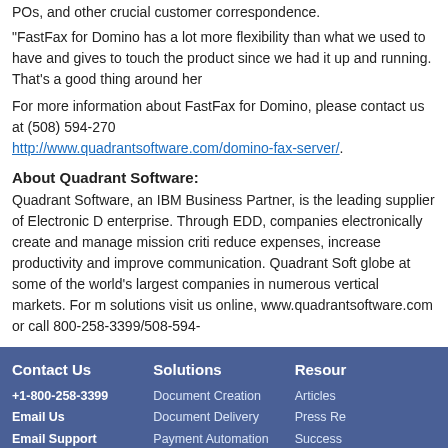POs, and other crucial customer correspondence.
"FastFax for Domino has a lot more flexibility than what we used to have and gives to touch the product since we had it up and running. That's a good thing around her
For more information about FastFax for Domino, please contact us at (508) 594-270 http://www.quadrantsoftware.com/domino-fax-server/.
About Quadrant Software:
Quadrant Software, an IBM Business Partner, is the leading supplier of Electronic D enterprise. Through EDD, companies electronically create and manage mission criti reduce expenses, increase productivity and improve communication. Quadrant Soft globe at some of the world's largest companies in numerous vertical markets. For m solutions visit us online, www.quadrantsoftware.com or call 800-258-3399/508-594-
Contact Us | Solutions | Resources
+1-800-258-3399
Email Us
Email Support
Document Creation
Document Delivery
Payment Automation
Document Workflow
Email Automation
Articles
Press Re
Success
Whitepa
Quadran
Copyright © 2022 Quadrant Software, All Rights Reserved    Quadrant Software | Privacy Policy  |  Terms and Conditions  |  Sitemap  |  Trademark